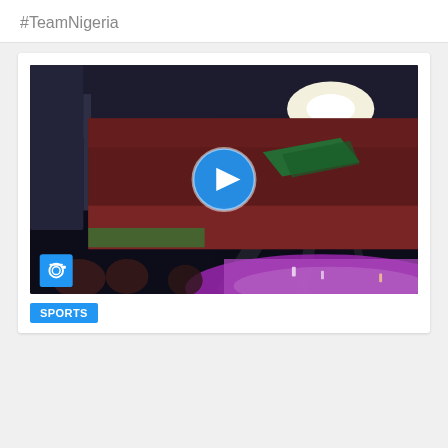#TeamNigeria
[Figure (photo): Stadium crowd at night with bright floodlights, large crowd in stands, purple athletics track visible at bottom right, video play button overlay in center, camera icon badge at bottom left]
SPORTS